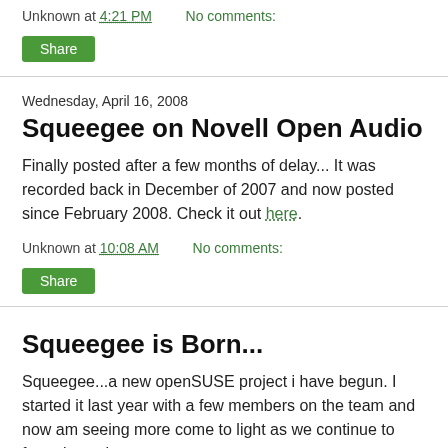Unknown at 4:21 PM    No comments:
Share
Wednesday, April 16, 2008
Squeegee on Novell Open Audio
Finally posted after a few months of delay... It was recorded back in December of 2007 and now posted since February 2008. Check it out here.
Unknown at 10:08 AM    No comments:
Share
Squeegee is Born...
Squeegee...a new openSUSE project i have begun. I started it last year with a few members on the team and now am seeing more come to light as we continue to forge its path.